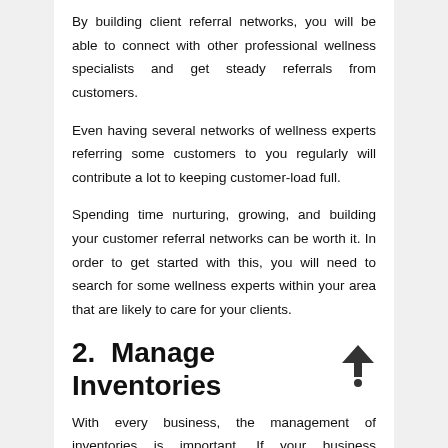By building client referral networks, you will be able to connect with other professional wellness specialists and get steady referrals from customers.
Even having several networks of wellness experts referring some customers to you regularly will contribute a lot to keeping customer-load full.
Spending time nurturing, growing, and building your customer referral networks can be worth it. In order to get started with this, you will need to search for some wellness experts within your area that are likely to care for your clients.
2.  Manage Inventories
With every business, the management of inventories is important. If your business organization deals with